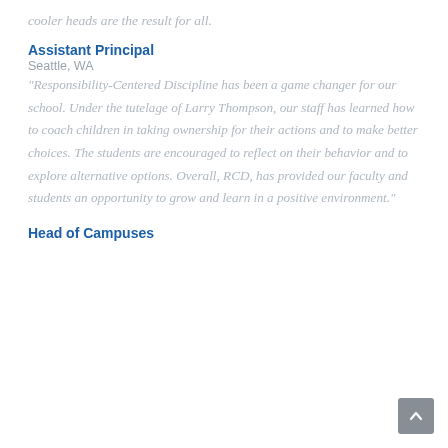cooler heads are the result for all.
Assistant Principal
Seattle, WA
"Responsibility-Centered Discipline has been a game changer for our school. Under the tutelage of Larry Thompson, our staff has learned how to coach children in taking ownership for their actions and to make better choices. The students are encouraged to reflect on their behavior and to explore alternative options. Overall, RCD, has provided our faculty and students an opportunity to grow and learn in a positive environment."
Head of Campuses